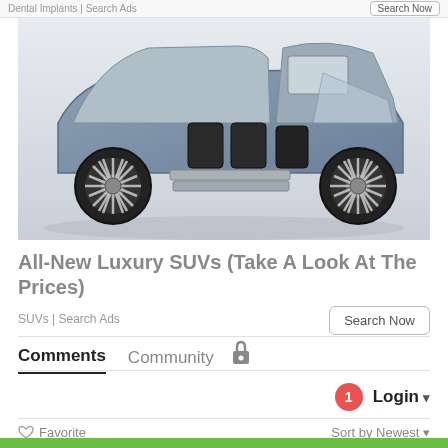Dental Implants | Search Ads    Search Now
[Figure (photo): Luxury SUV concept vehicle with gull-wing doors open, showing premium interior with multi-row seating, distinctive turbine-style wheels, and entry steps deployed.]
All-New Luxury SUVs (Take A Look At The Prices)
SUVs | Search Ads
Search Now
Comments  Community
1  Login
Favorite    Sort by Newest